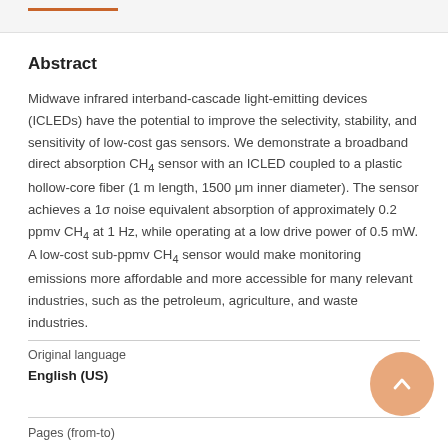Abstract
Midwave infrared interband-cascade light-emitting devices (ICLEDs) have the potential to improve the selectivity, stability, and sensitivity of low-cost gas sensors. We demonstrate a broadband direct absorption CH₄ sensor with an ICLED coupled to a plastic hollow-core fiber (1 m length, 1500 μm inner diameter). The sensor achieves a 1σ noise equivalent absorption of approximately 0.2 ppmv CH₄ at 1 Hz, while operating at a low drive power of 0.5 mW. A low-cost sub-ppmv CH₄ sensor would make monitoring emissions more affordable and more accessible for many relevant industries, such as the petroleum, agriculture, and waste industries.
Original language
English (US)
Pages (from-to)